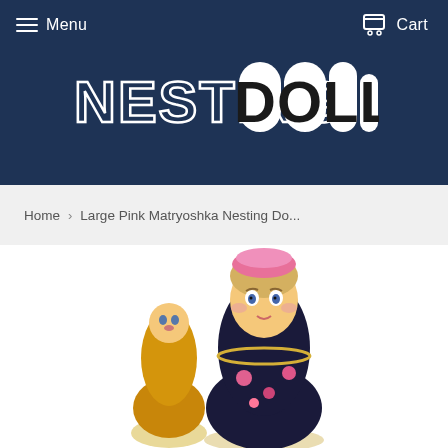Menu  Cart
[Figure (logo): Nesting Dolls logo — 'NESTING' in white outlined letters, 'DOLLs' in black letters on white rounded pill shapes, dark navy background]
Home › Large Pink Matryoshka Nesting Do...
[Figure (photo): Matryoshka nesting dolls — large doll with blonde hair, pink floral decorations, and a smaller doll in front, partially visible at bottom of page]